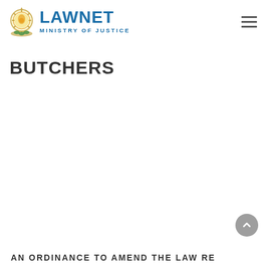LAWNET MINISTRY OF JUSTICE
BUTCHERS
AN ORDINANCE TO AMEND THE LAW RE